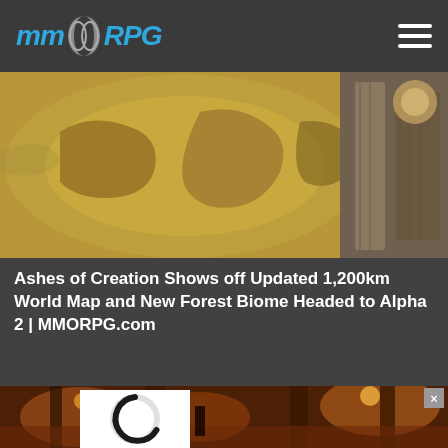MMORPG
[Figure (photo): Ashes of Creation world map image showing a large globe/map with brownish-yellow landmasses, alongside a wooden/stone interior architectural detail on the right side]
Ashes of Creation Shows off Updated 1,200km World Map and New Forest Biome Headed to Alpha 2 | MMORPG.com
[Figure (photo): Dark fantasy game screenshot showing a dungeon-like environment with reddish-orange lighting, torches, tall pillar structures, and a character visible in the scene]
[Figure (other): Loading spinner - circular spinner indicator, mostly black with a small light gray segment at top right, indicating page content is still loading]